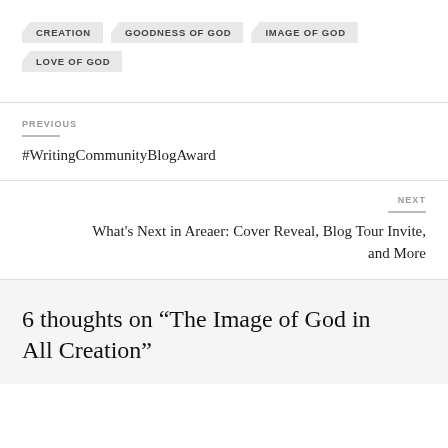CREATION
GOODNESS OF GOD
IMAGE OF GOD
LOVE OF GOD
PREVIOUS
#WritingCommunityBlogAward
NEXT
What's Next in Areaer: Cover Reveal, Blog Tour Invite, and More
6 thoughts on “The Image of God in All Creation”